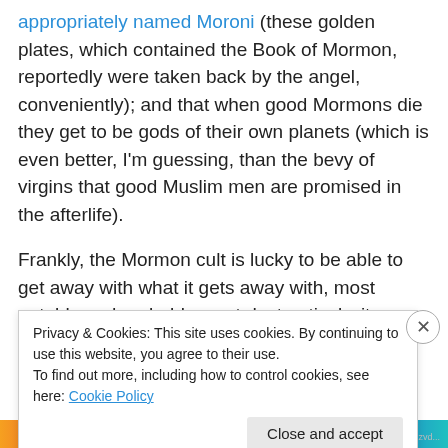appropriately named Moroni (these golden plates, which contained the Book of Mormon, reportedly were taken back by the angel, conveniently); and that when good Mormons die they get to be gods of their own planets (which is even better, I'm guessing, than the bevy of virgins that good Muslim men are promised in the afterlife).
Frankly, the Mormon cult is lucky to be able to get away with what it gets away with, most notably and probably most destructively, its routine brainwashing of its youth,
Privacy & Cookies: This site uses cookies. By continuing to use this website, you agree to their use.
To find out more, including how to control cookies, see here: Cookie Policy